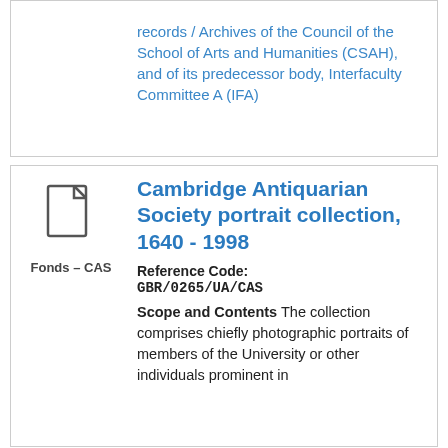records / Archives of the Council of the School of Arts and Humanities (CSAH), and of its predecessor body, Interfaculty Committee A (IFA)
Cambridge Antiquarian Society portrait collection, 1640 - 1998
Reference Code: GBR/0265/UA/CAS
Scope and Contents The collection comprises chiefly photographic portraits of members of the University or other individuals prominent in